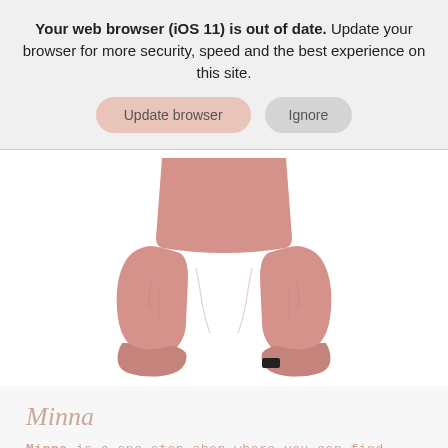Your web browser (iOS 11) is out of date. Update your browser for more security, speed and the best experience on this site.
Update browser
Ignore
[Figure (photo): Pink/dusty rose baby pants with cuffed ankles and a small black tag on the right ankle, shown flat lay on white background]
Minna
Minna is a one-stop shop where you can find